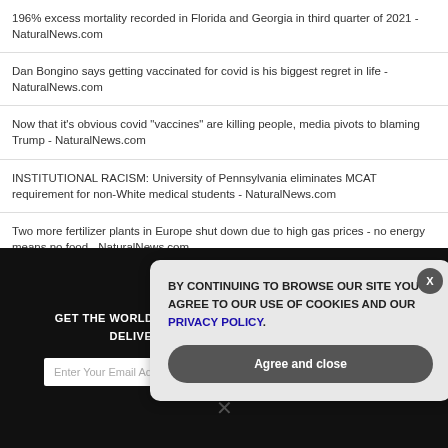196% excess mortality recorded in Florida and Georgia in third quarter of 2021 - NaturalNews.com
Dan Bongino says getting vaccinated for covid is his biggest regret in life - NaturalNews.com
Now that it’s obvious covid “vaccines” are killing people, media pivots to blaming Trump - NaturalNews.com
INSTITUTIONAL RACISM: University of Pennsylvania eliminates MCAT requirement for non-White medical students - NaturalNews.com
Two more fertilizer plants in Europe shut down due to high gas prices - no energy means no food - NaturalNews.com
GET THE WORLD’S BEST NATURAL HEALTH NEWSLETTER DELIVERED STRAIGHT TO YOUR INBOX
BY CONTINUING TO BROWSE OUR SITE YOU AGREE TO OUR USE OF COOKIES AND OUR PRIVACY POLICY.
Agree and close